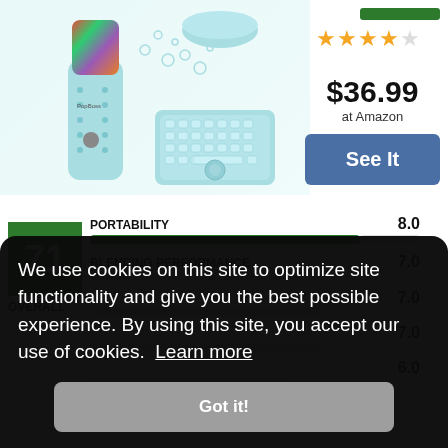[Figure (photo): Product photo showing a portable blender with fruits, a bowl, and a keyboard-shaped ice mold tray, all in light blue/teal color scheme]
$36.99 at Amazon
See It
[Figure (bar-chart): Scores]
71
OVERALL
We use cookies on this site to optimize site functionality and give you the best possible experience. By using this site, you accept our use of cookies.  Learn more
Got it!